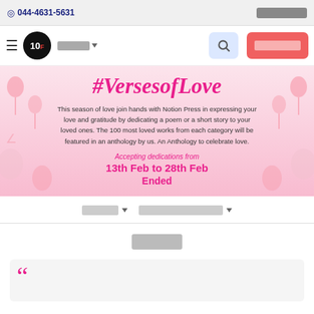044-4631-5631
[Figure (logo): 10F logo in black circle with red F]
#VersesofLove
This season of love join hands with Notion Press in expressing your love and gratitude by dedicating a poem or a short story to your loved ones. The 100 most loved works from each category will be featured in an anthology by us. An Anthology to celebrate love.
Accepting dedications from
13th Feb to 28th Feb
Ended